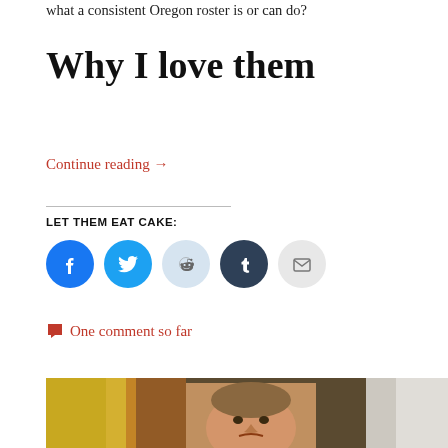what a consistent Oregon roster is or can do?
Why I love them
Continue reading →
LET THEM EAT CAKE:
[Figure (infographic): Social sharing icons: Facebook (blue circle), Twitter (light blue circle), Reddit (pale blue circle), Tumblr (dark navy circle), Email (grey circle)]
One comment so far
[Figure (photo): A basketball coach in an intense expression, surrounded by players in yellow and white uniforms]